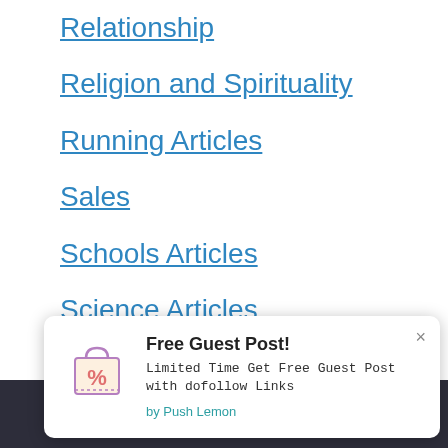Relationship
Religion and Spirituality
Running Articles
Sales
Schools Articles
Science Articles
Security
Self Improvement
SEO
Shoes
Free Guest Post!
Limited Time Get Free Guest Post with dofollow Links
by Push Lemon